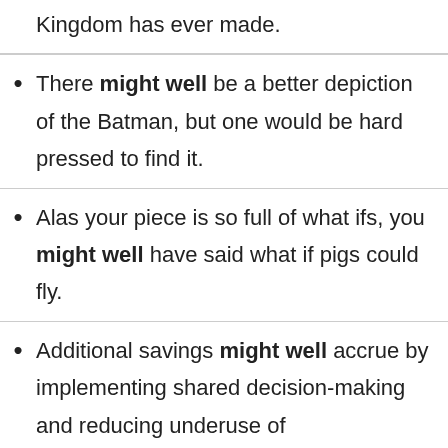Kingdom has ever made.
There might well be a better depiction of the Batman, but one would be hard pressed to find it.
Alas your piece is so full of what ifs, you might well have said what if pigs could fly.
Additional savings might well accrue by implementing shared decision-making and reducing underuse of